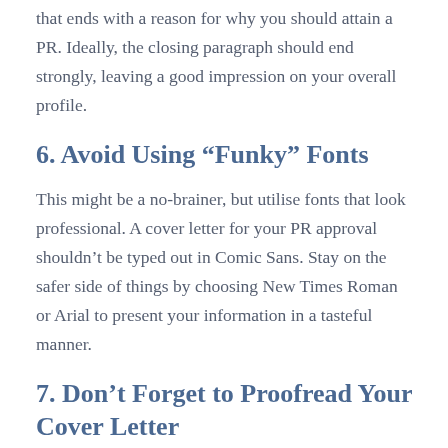that ends with a reason for why you should attain a PR. Ideally, the closing paragraph should end strongly, leaving a good impression on your overall profile.
6. Avoid Using “Funky” Fonts
This might be a no-brainer, but utilise fonts that look professional. A cover letter for your PR approval shouldn’t be typed out in Comic Sans. Stay on the safer side of things by choosing New Times Roman or Arial to present your information in a tasteful manner.
7. Don’t Forget to Proofread Your Cover Letter
It is essential that you take the time to proofread your document. To ensure that there are no errors, consider